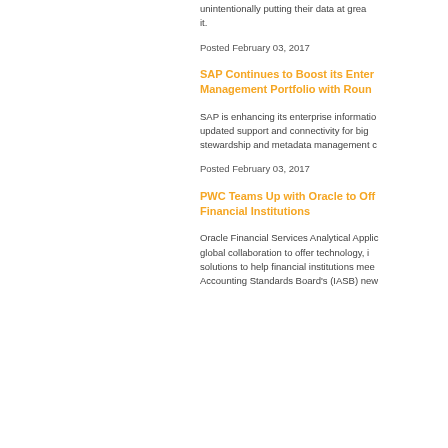unintentionally putting their data at greater risk without realizing it.
Posted February 03, 2017
SAP Continues to Boost its Enterprise Information Management Portfolio with Round...
SAP is enhancing its enterprise information management portfolio with updated support and connectivity for big data, as well as improved data stewardship and metadata management c...
Posted February 03, 2017
PWC Teams Up with Oracle to Off... Financial Institutions
Oracle Financial Services Analytical Applic... global collaboration to offer technology, i... solutions to help financial institutions mee... Accounting Standards Board's (IASB) new...